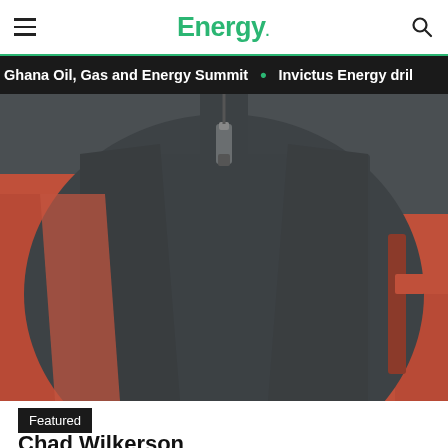Energy.
Ghana Oil, Gas and Energy Summit • Invictus Energy dril
[Figure (photo): Close-up photo of a person wearing a dark charcoal grey quarter-zip sweater with orange accent panels on the sides. The zipper pull is visible at the collar. The background shows orange/red panels from a high-visibility jacket or equipment.]
Featured
Chad Wilkerson
Director of Sustainability and Infrastructure Sourcing, T-Mobile